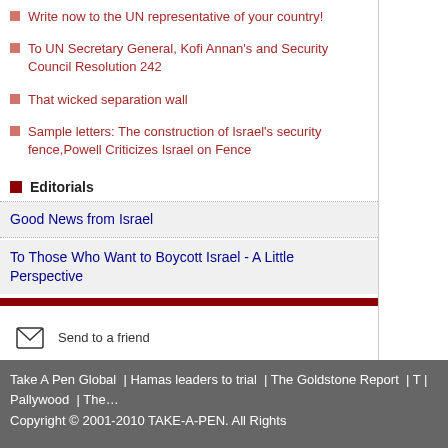Write now to the UN representative of your country!
To UN Secretary General, Kofi Annan's and Security Council Resolution 242
That wicked separation wall
Sample letters: The construction of Israel's security fence,Powell Criticizes Israel on Fence
Editorials
Good News from Israel
To Those Who Want to Boycott Israel - A Little Perspective
Send to a friend
Print page
[Figure (other): Bookmark button with social sharing icons]
Take A Pen Global  | Hamas leaders to trial  | The Goldstone Report  | T... | Pallywood  | The...
Copyright © 2001-2010 TAKE-A-PEN. All Rights